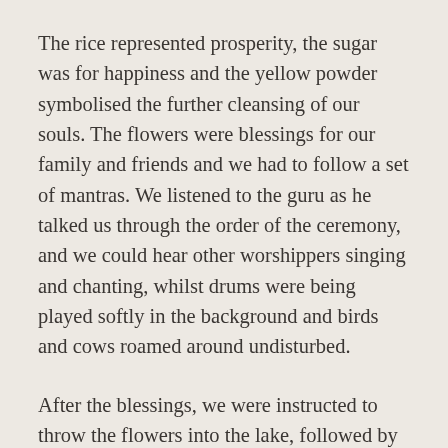The rice represented prosperity, the sugar was for happiness and the yellow powder symbolised the further cleansing of our souls. The flowers were blessings for our family and friends and we had to follow a set of mantras. We listened to the guru as he talked us through the order of the ceremony, and we could hear other worshippers singing and chanting, whilst drums were being played softly in the background and birds and cows roamed around undisturbed.
After the blessings, we were instructed to throw the flowers into the lake, followed by the other items on our plates, as offerings. Now we had started afresh, and we all agreed that we did feel a genuine sense of peace. This ceremony was now supposed to last us (and our families) a lifetime of